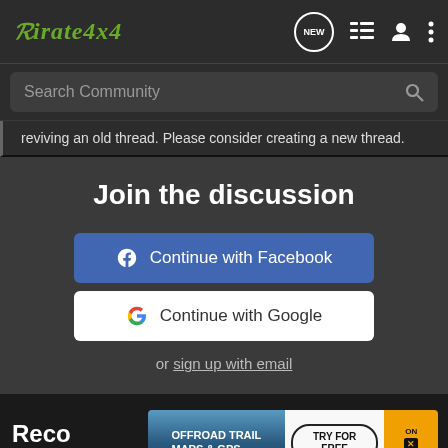Pirate4x4
Search Community
reviving an old thread. Please consider creating a new thread.
Join the discussion
Continue with Facebook
Continue with Google
or sign up with email
Reco
[Figure (screenshot): Advertisement banner for OnX Offroad showing 'OFFROAD TRAIL MAPS & GPS' with 'TRY FOR FREE' button and ON X OFFROAD branding on orange background]